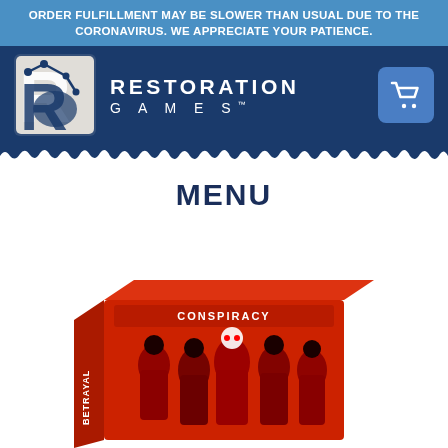ORDER FULFILLMENT MAY BE SLOWER THAN USUAL DUE TO THE CORONAVIRUS. WE APPRECIATE YOUR PATIENCE.
[Figure (logo): Restoration Games logo — white R-shaped figure with dice dots on dark navy background, with text RESTORATION GAMES in white letters, and a shopping cart icon button on the right]
MENU
[Figure (photo): Red board game box for Betrayal game with illustrated characters in dark silhouette style — multiple people shown on the box front and side panel showing the game title]